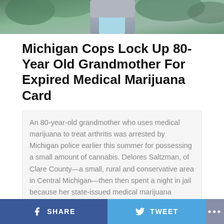[Figure (photo): Partial view of a person wearing a grey hoodie and light blue shirt, outdoors with green foliage in the background]
Michigan Cops Lock Up 80-Year Old Grandmother For Expired Medical Marijuana Card
An 80-year-old grandmother who uses medical marijuana to treat arthritis was arrested by Michigan police earlier this summer for possessing a small amount of cannabis. Delores Saltzman, of Clare County—a small, rural and conservative area in Central Michigan—then then spent a night in jail because her state-issued medical marijuana registration had expired. Saltzman was not … Continue reading
Marijuana Moment
SHARE   TWEET   ...